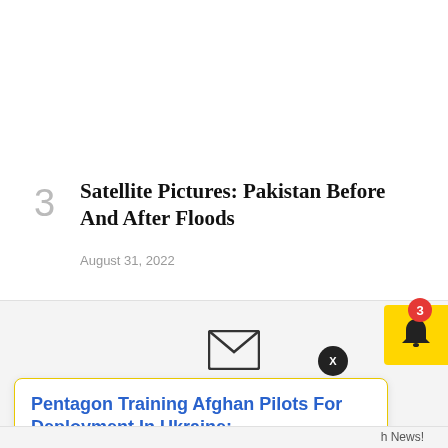3
Satellite Pictures: Pakistan Before And After Floods
August 31, 2022
[Figure (screenshot): Notification area with envelope icon, X close button, bell icon with red badge showing 3, and a popup notification card]
Pentagon Training Afghan Pilots For Deployment In Ukraine:
9 hours ago